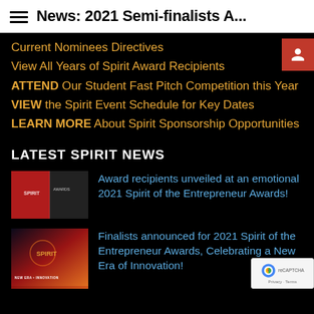News: 2021 Semi-finalists A...
Current Nominees Directives
View All Years of Spirit Award Recipients
ATTEND Our Student Fast Pitch Competition this Year
VIEW the Spirit Event Schedule for Key Dates
LEARN MORE About Spirit Sponsorship Opportunities
LATEST SPIRIT NEWS
[Figure (photo): Thumbnail image for Spirit Award news article 1 – red and dark themed banner]
Award recipients unveiled at an emotional 2021 Spirit of the Entrepreneur Awards!
[Figure (photo): Thumbnail image for Spirit Award news article 2 – NEW ERA + INNOVATION banner with red/orange gradient]
Finalists announced for 2021 Spirit of the Entrepreneur Awards, Celebrating a New Era of Innovation!
[Figure (other): reCAPTCHA badge – Privacy · Terms]